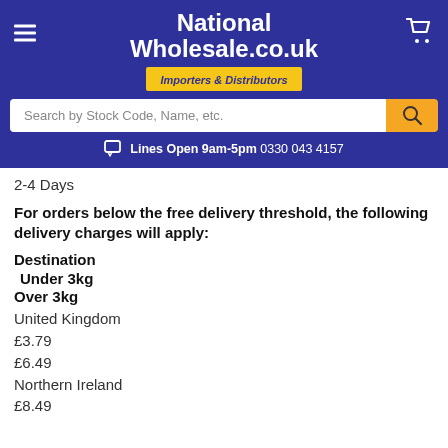National Wholesale.co.uk — Importers & Distributors
Search by Stock Code, Name, etc.
Lines Open 9am-5pm 0330 043 4157
2-4 Days
For orders below the free delivery threshold, the following delivery charges will apply:
Destination
Under 3kg
Over 3kg
United Kingdom
£3.79
£6.49
Northern Ireland
£8.49